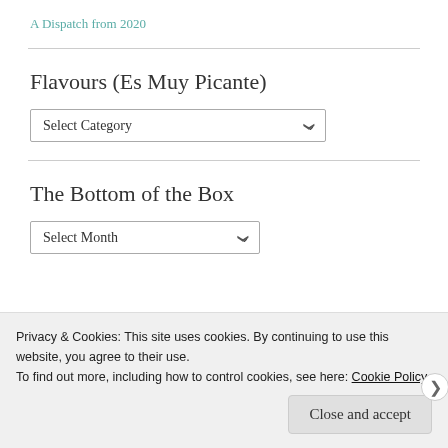A Dispatch from 2020
Flavours (Es Muy Picante)
Select Category
The Bottom of the Box
Select Month
Privacy & Cookies: This site uses cookies. By continuing to use this website, you agree to their use.
To find out more, including how to control cookies, see here: Cookie Policy
Close and accept